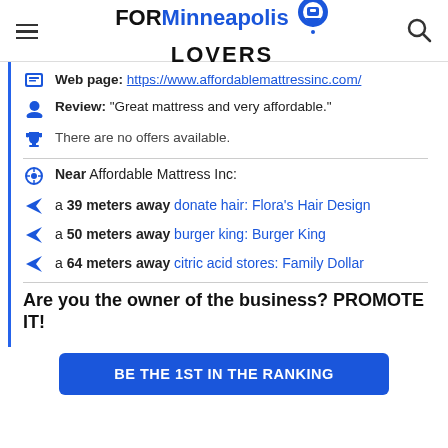FORMinneapolis LOVERS
Web page: https://www.affordablemattressinc.com/
Review: "Great mattress and very affordable."
There are no offers available.
Near Affordable Mattress Inc:
a 39 meters away donate hair: Flora's Hair Design
a 50 meters away burger king: Burger King
a 64 meters away citric acid stores: Family Dollar
Are you the owner of the business? PROMOTE IT!
BE THE 1ST IN THE RANKING